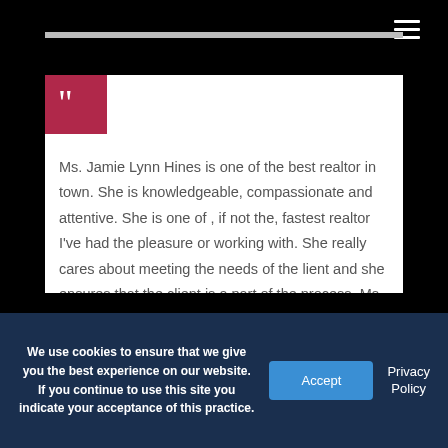[Figure (illustration): Red square box with large white closing double quotation marks icon]
Ms. Jamie Lynn Hines is one of the best realtor in town. She is knowledgeable, compassionate and attentive. She is one of , if not the, fastest realtor I've had the pleasure or working with. She really cares about meeting the needs of the lient and she ensures that the client is a part of the process. Ms. Jamie is a warm person and she will definitely reflect the authenticity and the genuine care she has for her
We use cookies to ensure that we give you the best experience on our website. If you continue to use this site you indicate your acceptance of this practice.
Accept
Privacy Policy